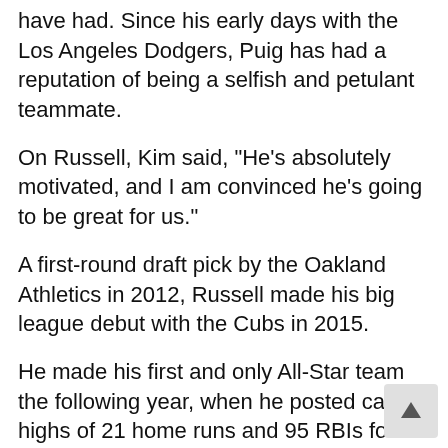have had. Since his early days with the Los Angeles Dodgers, Puig has had a reputation of being a selfish and petulant teammate.
On Russell, Kim said, "He's absolutely motivated, and I am convinced he's going to be great for us."
A first-round draft pick by the Oakland Athletics in 2012, Russell made his big league debut with the Cubs in 2015.
He made his first and only All-Star team the following year, when he posted career highs of 21 home runs and 95 RBIs for the World Series champions.
Last year, Russell played 82 games and had a .237/.308/.391 line with nine homers and 23 RBIs.